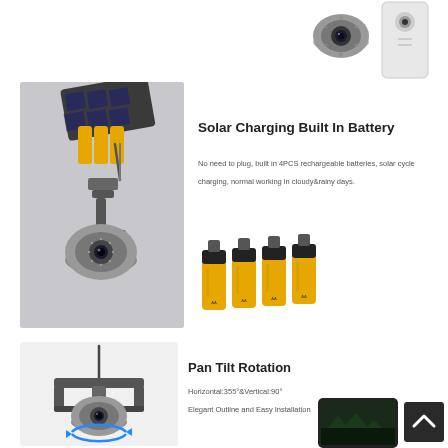[Figure (photo): Top portion showing security camera dome and flat panel camera on white background]
[Figure (photo): Solar-powered PTZ security camera mounted on wall with solar panel on top and antenna]
Solar Charging Built In Battery
No need to plug, built in 4PCS rechargeable batteries, solar cycle charging, normal working in cloudy&rainy days.
[Figure (photo): Four AA rechargeable batteries (yellow/black) standing upright]
[Figure (photo): PTZ security camera on wall mount bracket with blue rotation arrows indicating pan tilt movement]
Pan Tilt Rotation
Horizontal:355°&Vertical:90°
Elegant Outline and Easy Installation
[Figure (screenshot): Smartphone showing security camera live feed of outdoor scene at night]